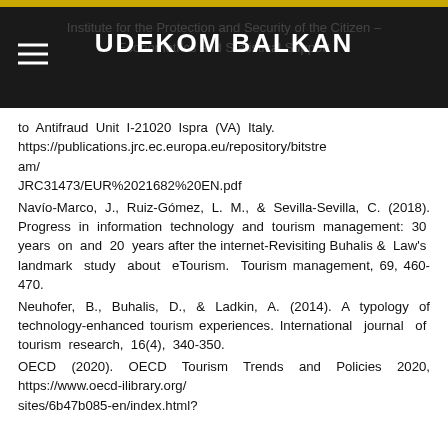UDEKOM BALKAN
to Antifraud Unit I-21020 Ispra (VA) Italy. https://publications.jrc.ec.europa.eu/repository/bitstream/ JRC31473/EUR%2021682%20EN.pdf
Navío-Marco, J., Ruiz-Gómez, L. M., & Sevilla-Sevilla, C. (2018). Progress in information technology and tourism management: 30 years on and 20 years after the internet-Revisiting Buhalis & Law's landmark study about eTourism. Tourism management, 69, 460-470.
Neuhofer, B., Buhalis, D., & Ladkin, A. (2014). A typology of technology-enhanced tourism experiences. International journal of tourism research, 16(4), 340-350.
OECD (2020). OECD Tourism Trends and Policies 2020, https://www.oecd-ilibrary.org/ sites/6b47b085-en/index.html?